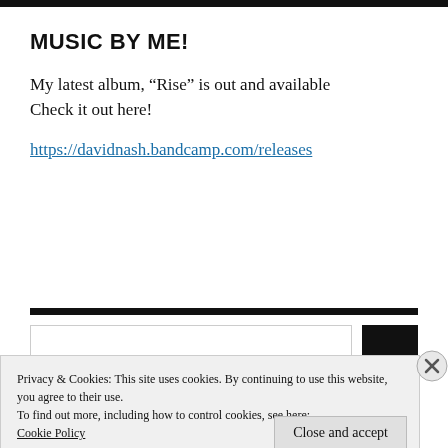MUSIC BY ME!
My latest album, “Rise” is out and available Check it out here!
https://davidnash.bandcamp.com/releases
Privacy & Cookies: This site uses cookies. By continuing to use this website, you agree to their use.
To find out more, including how to control cookies, see here:
Cookie Policy
Close and accept